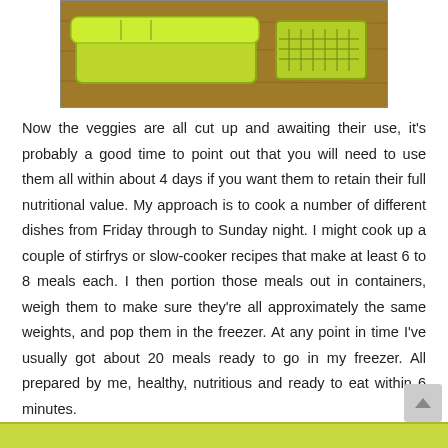[Figure (photo): A photo of green/lime-colored plastic vegetable slicer/chopper kitchen tools on a wooden surface]
Now the veggies are all cut up and awaiting their use, it's probably a good time to point out that you will need to use them all within about 4 days if you want them to retain their full nutritional value. My approach is to cook a number of different dishes from Friday through to Sunday night. I might cook up a couple of stirfrys or slow-cooker recipes that make at least 6 to 8 meals each. I then portion those meals out in containers, weigh them to make sure they're all approximately the same weights, and pop them in the freezer. At any point in time I've usually got about 20 meals ready to go in my freezer. All prepared by me, healthy, nutritious and ready to eat within 6 minutes.